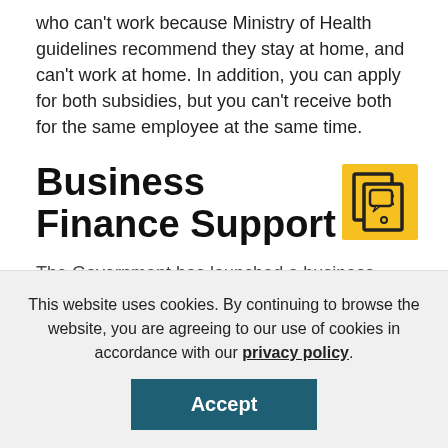who can't work because Ministry of Health guidelines recommend they stay at home, and can't work at home. In addition, you can apply for both subsidies, but you can't receive both for the same employee at the same time.
Business Finance Support
[Figure (illustration): Yellow icon showing stacked documents/screens with a chat bubble, outlined in dark, on a yellow background square]
The Government has launched a business finance guarantee scheme for small and
This website uses cookies. By continuing to browse the website, you are agreeing to our use of cookies in accordance with our privacy policy.